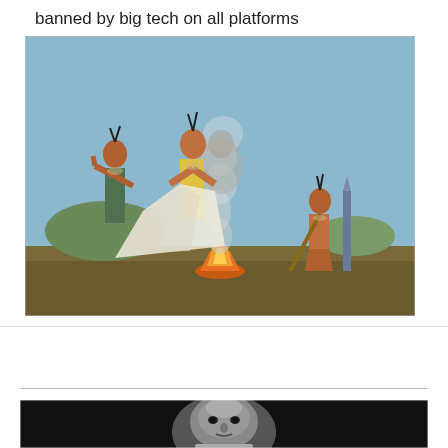banned by big tech on all platforms
[Figure (illustration): Classical painting of Native Americans sending smoke signals around a campfire, with a ghostly figure appearing in the smoke.]
[Figure (photo): Black and white close-up photograph of a man with a stern expression looking directly at the camera.]